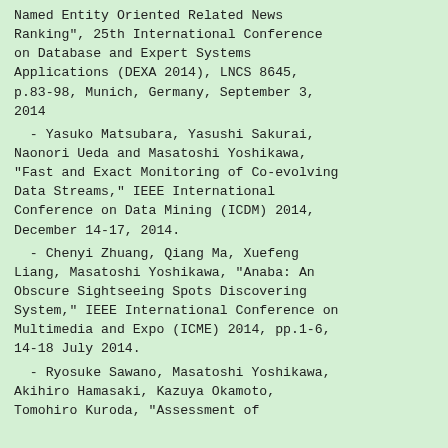Named Entity Oriented Related News Ranking", 25th International Conference on Database and Expert Systems Applications (DEXA 2014), LNCS 8645, p.83-98, Munich, Germany, September 3, 2014
- Yasuko Matsubara, Yasushi Sakurai, Naonori Ueda and Masatoshi Yoshikawa, "Fast and Exact Monitoring of Co-evolving Data Streams," IEEE International Conference on Data Mining (ICDM) 2014, December 14-17, 2014.
- Chenyi Zhuang, Qiang Ma, Xuefeng Liang, Masatoshi Yoshikawa, "Anaba: An Obscure Sightseeing Spots Discovering System," IEEE International Conference on Multimedia and Expo (ICME) 2014, pp.1-6, 14-18 July 2014.
- Ryosuke Sawano, Masatoshi Yoshikawa, Akihiro Hamasaki, Kazuya Okamoto, Tomohiro Kuroda, "Assessment of